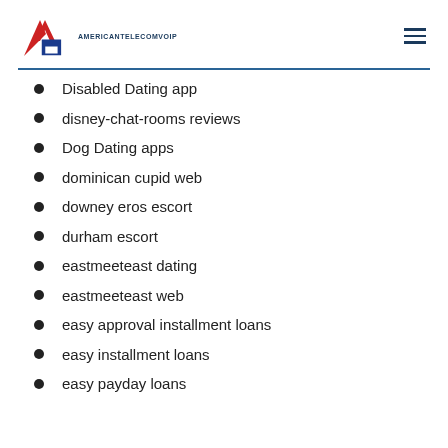AMERICANTELECOMVOIP
Disabled Dating app
disney-chat-rooms reviews
Dog Dating apps
dominican cupid web
downey eros escort
durham escort
eastmeeteast dating
eastmeeteast web
easy approval installment loans
easy installment loans
easy payday loans